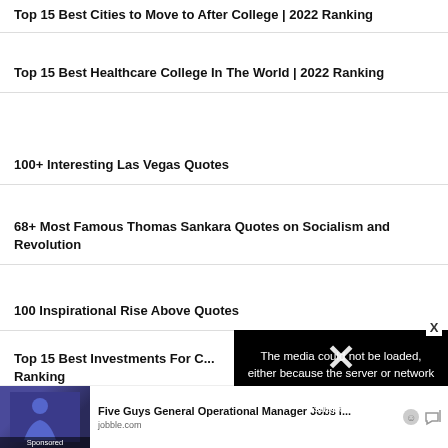Top 15 Best Cities to Move to After College | 2022 Ranking
Top 15 Best Healthcare College In The World | 2022 Ranking
100+ Interesting Las Vegas Quotes
68+ Most Famous Thomas Sankara Quotes on Socialism and Revolution
100 Inspirational Rise Above Quotes
Top 15 Best Investments For College Ranking
[Figure (screenshot): Video player error overlay: black background with white text 'The media could not be loaded, either because the server or network failed or because the format is not supported.' with a large X/close button overlay]
Top 15 Best ... Ranking
Five Guys General Operational Manager Jobs i...
jobble.com
Sponsored